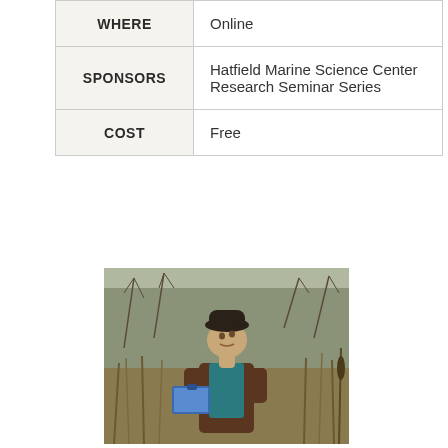| WHERE | Online |
| SPONSORS | Hatfield Marine Science Center Research Seminar Series |
| COST | Free |
[Figure (photo): A researcher or scientist wearing a dark hat, brown jacket, and teal vest, holding a blue clipboard and looking upward while standing in a wetland or marsh area with tall grasses and bare shrubs in the background.]